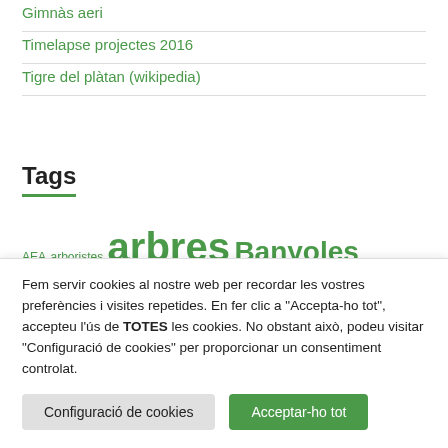Gimnàs aeri
Timelapse projectes 2016
Tigre del plàtan (wikipedia)
Tags
AEA arboristes arbres Banyoles Camprodon carrer Certificat Costa Brava diari de girona empuriabrava errors ETW Figueres fotos fulles gestió Girona iberflora identificació jardi Llistat Ol... Rodo...
Fem servir cookies al nostre web per recordar les vostres preferències i visites repetides. En fer clic a "Accepta-ho tot", accepteu l'ús de TOTES les cookies. No obstant això, podeu visitar "Configuració de cookies" per proporcionar un consentiment controlat.
Configuració de cookies
Acceptar-ho tot